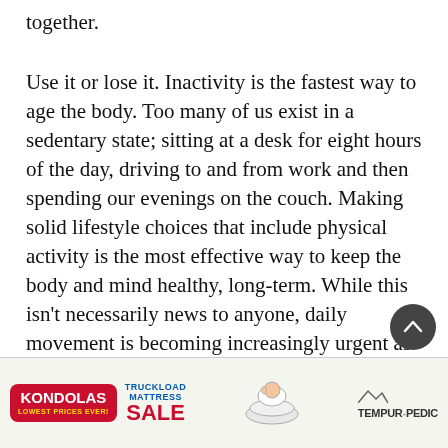together.
Use it or lose it. Inactivity is the fastest way to age the body. Too many of us exist in a sedentary state; sitting at a desk for eight hours of the day, driving to and from work and then spending our evenings on the couch. Making solid lifestyle choices that include physical activity is the most effective way to keep the body and mind healthy, long-term. While this isn't necessarily news to anyone, daily movement is becoming increasingly urgent as kids, teens and adults are spending more time on devices and games and in front of screens and, as a result, physical literacy is failing.
Once movement habits are improved, it is important to keep the body happy and well maintained. We all know the
[Figure (other): Advertisement banner for Kondolas Truckload Mattress Sale featuring Tempur-Pedic brand, with text LOWEST PRICES EVER!]